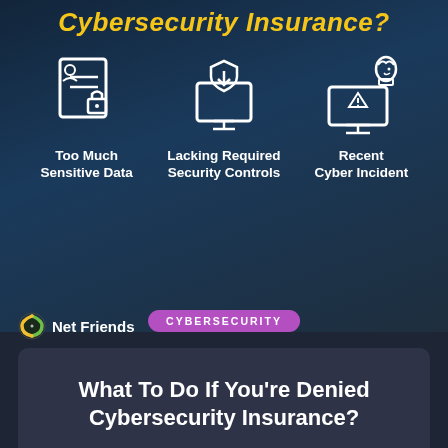Cybersecurity Insurance?
[Figure (illustration): Three white icon illustrations: document with person and lock (Too Much Sensitive Data), shield with computer monitor (Lacking Required Security Controls), computer with Trojan horse chess piece (Recent Cyber Incident)]
Too Much Sensitive Data
Lacking Required Security Controls
Recent Cyber Incident
[Figure (logo): Net Friends logo with circular green/yellow ring icon and white text 'Net Friends']
CYBERSECURITY
What To Do If You're Denied Cybersecurity Insurance?
Read More